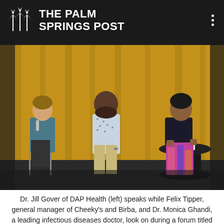THE PALM SPRINGS POST
[Figure (photo): Three panelists seated at a forum. On the left, a woman with a microphone. In the center, a man in a patterned shirt. On the right, a woman seated at a black round table with water bottles. Gold curtains in the background.]
Dr. Jill Gover of DAP Health (left) speaks while Felix Tipper, general manager of Cheeky's and Birba, and Dr. Monica Ghandi, a leading infectious diseases doctor, look on during a forum titled "Covid: What's Next?" Monday in Palm Springs.